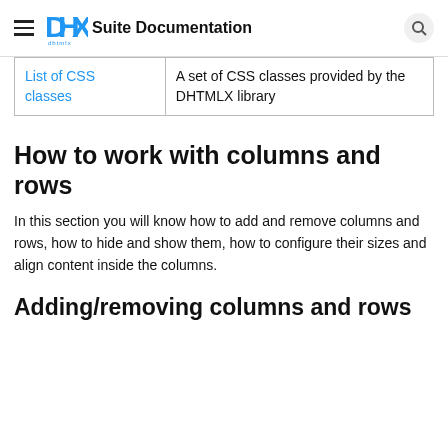DHX Suite Documentation
| List of CSS classes | A set of CSS classes provided by the DHTMLX library |
How to work with columns and rows
In this section you will know how to add and remove columns and rows, how to hide and show them, how to configure their sizes and align content inside the columns.
Adding/removing columns and rows